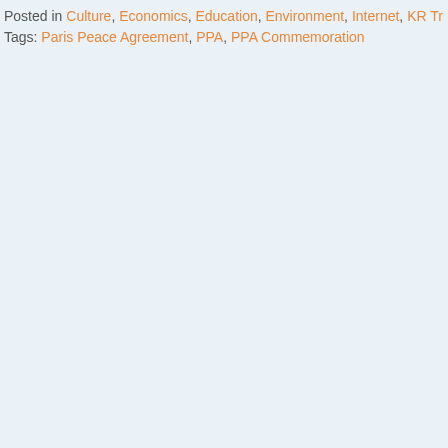Posted in Culture, Economics, Education, Environment, Internet, KR Trial, Leadership, Politi...
Tags: Paris Peace Agreement, PPA, PPA Commemoration